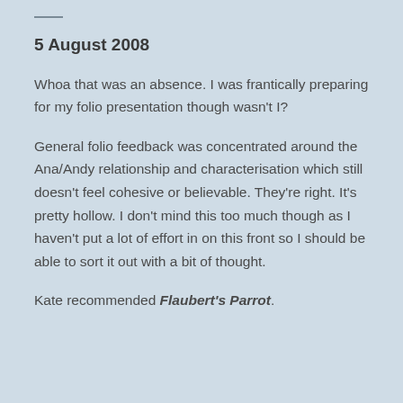—
5 August 2008
Whoa that was an absence. I was frantically preparing for my folio presentation though wasn't I?
General folio feedback was concentrated around the Ana/Andy relationship and characterisation which still doesn't feel cohesive or believable. They're right. It's pretty hollow. I don't mind this too much though as I haven't put a lot of effort in on this front so I should be able to sort it out with a bit of thought.
Kate recommended Flaubert's Parrot.